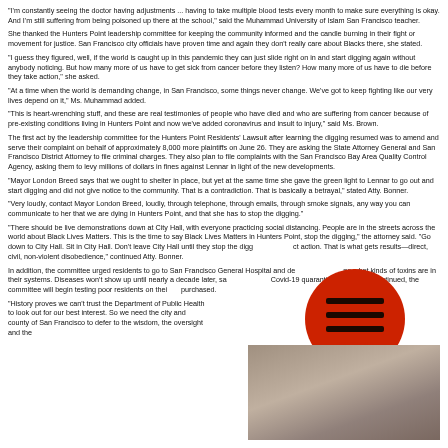"I'm constantly seeing the doctor having adjustments ... having to take multiple blood tests every month to make sure everything is okay. And I'm still suffering from being poisoned up there at the school," said the Muhammad University of Islam San Francisco teacher.
She thanked the Hunters Point leadership committee for keeping the community informed and the candle burning in their fight or movement for justice. San Francisco city officials have proven time and again they don't really care about Blacks there, she stated.
"I guess they figured, well, if the world is caught up in this pandemic they can just slide right on in and start digging again without anybody noticing. But how many more of us have to get sick from cancer before they listen?  How many more of us have to die before they take action," she asked.
"At a time when the world is demanding change, in San Francisco, some things never change. We've got to keep fighting like our very lives depend on it," Ms. Muhammad added.
"This is heart-wrenching stuff, and these are real testimonies of people who have died and who are suffering from cancer because of pre-existing conditions living in Hunters Point and now we've added coronavirus and insult to injury," said Ms. Brown.
The first act by the leadership committee for the Hunters Point Residents' Lawsuit after learning the digging resumed was to amend and serve their complaint on behalf of approximately 8,000 more plaintiffs on June 26.  They are asking the State Attorney General and San Francisco District Attorney to file criminal charges.  They also plan to file complaints with the San Francisco Bay Area Quality Control Agency, asking them to levy millions of dollars in fines against Lennar in light of the new developments.
"Mayor London Breed says that we ought to shelter in place, but yet at the same time she gave the green light to Lennar to go out and start digging and did not give notice to the community. That is a contradiction. That is basically a betrayal," stated Atty. Bonner.
"Very loudly, contact Mayor London Breed, loudly, through telephone, through emails, through smoke signals, any way you can communicate to her that we are dying in Hunters Point, and that she has to stop the digging."
"There should be live demonstrations down at City Hall, with everyone practicing social distancing.  People are in the streets across the world about Black Lives Matters. This is the time to say Black Lives Matters in Hunters Point, stop the digging," the attorney said. "Go down to City Hall. Sit in City Hall. Don't leave City Hall until they stop the digging and direct action. That is what gets results—direct, civil, non-violent disobedience," continued Atty. Bonner.
In addition, the committee urged residents to go to San Francisco General Hospital and determine what kinds of toxins are in their systems. Diseases won't show up until nearly a decade later, said. Once the Covid-19 quarantine is lifted, he continued, the committee will begin testing poor residents on their own through tests purchased.
"History proves we can't trust the Department of Public Health to look out for our best interest. So we need the city and county of San Francisco to defer to the wisdom, the oversight and the
[Figure (infographic): Red circular menu button with three horizontal dark lines (hamburger icon) and the word 'menu' below, overlapping the article text.]
[Figure (photo): Photograph of a person, partially visible at lower right corner of the page.]